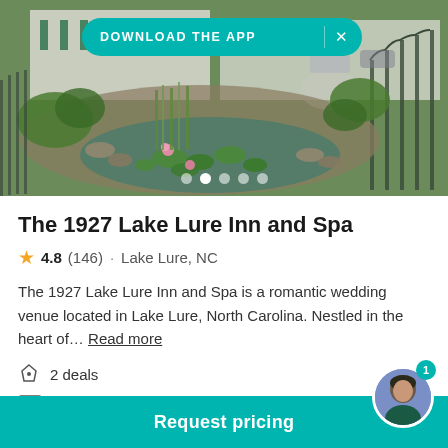[Figure (photo): Outdoor garden with a koi pond, lily pads, pink flowers, ornamental iron fence, manicured shrubs, and a white building in the background. A teal 'DOWNLOAD THE APP' banner overlaid at top with an X close button. Five white dot indicators at the bottom of the image.]
The 1927 Lake Lure Inn and Spa
4.8 (146) · Lake Lure, NC
The 1927 Lake Lure Inn and Spa is a romantic wedding venue located in Lake Lure, North Carolina. Nestled in the heart of... Read more
2 deals
$12k - $14k
Request pricing